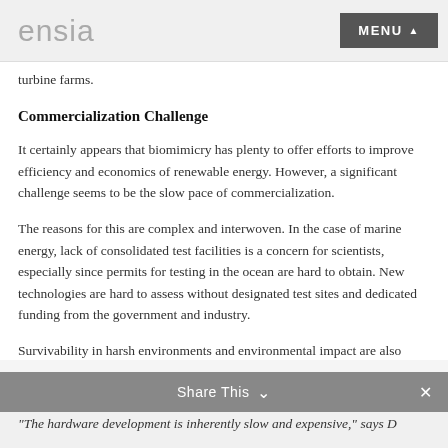ensia  MENU
turbine farms.
Commercialization Challenge
It certainly appears that biomimicry has plenty to offer efforts to improve efficiency and economics of renewable energy. However, a significant challenge seems to be the slow pace of commercialization.
The reasons for this are complex and interwoven. In the case of marine energy, lack of consolidated test facilities is a concern for scientists, especially since permits for testing in the ocean are hard to obtain. New technologies are hard to assess without designated test sites and dedicated funding from the government and industry.
Survivability in harsh environments and environmental impact are also major concerns for any clean energy technology.
Share This  ✕
“The hardware development is inherently slow and expensive,” says D